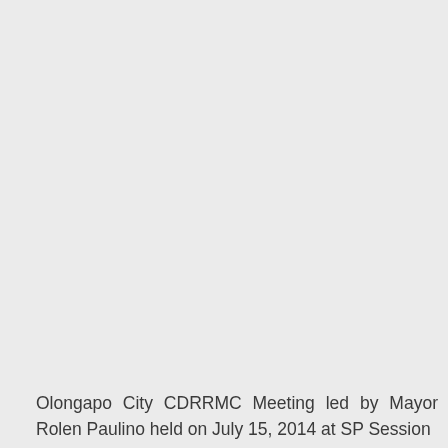Olongapo City CDRRMC Meeting led by Mayor Rolen Paulino held on July 15, 2014 at SP Session